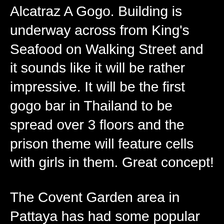Alcatraz A Gogo. Building is underway across from King's Seafood on Walking Street and it sounds like it will be rather impressive. It will be the first gogo bar in Thailand to be spread over 3 floors and the prison theme will feature cells with girls in them. Great concept!
The Covent Garden area in Pattaya has had some popular gogo bars over the years but in recent years it hasn't had the same sort of success it once did, which seems to be more about its location than the bars themselves. Bar goers just don't seem to make it that far down Walking Street – and of those who do make it that far down, few seem to make the short 20 metre stroll off the main Walking Street itself. A great shame because in the complex is Toyz, a favourite bar of mine. However, it looks as though there could